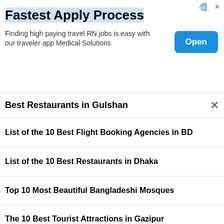[Figure (screenshot): Advertisement banner: 'Fastest Apply Process' - Finding high paying travel RN jobs is easy with our traveler app Medical Solutions, with an 'Open' button]
Best Restaurants in Gulshan
List of the 10 Best Flight Booking Agencies in BD
List of the 10 Best Restaurants in Dhaka
Top 10 Most Beautiful Bangladeshi Mosques
The 10 Best Tourist Attractions in Gazipur